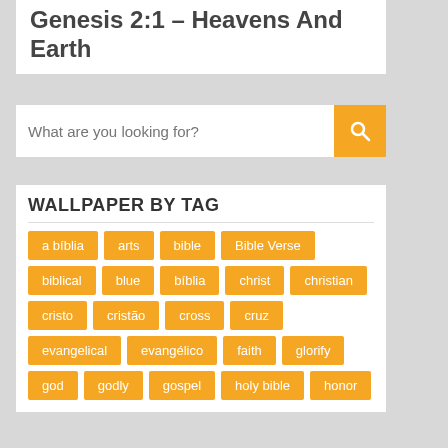Genesis 2:1 – Heavens And Earth
What are you looking for?
WALLPAPER BY TAG
a bíblia
arts
bible
Bible Verse
biblical
blue
bíblia
christ
christian
cristo
cristão
cross
cruz
evangelical
evangélico
faith
glorify
god
godly
gospel
holy bible
honor